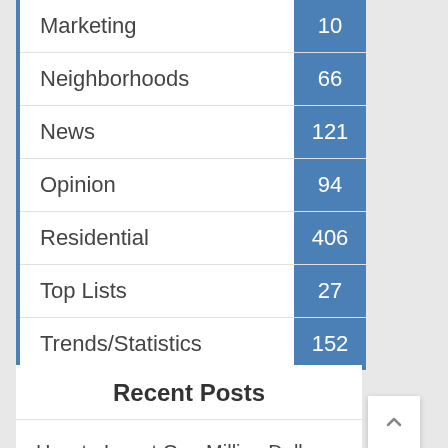| Category | Count |
| --- | --- |
| Marketing | 10 |
| Neighborhoods | 66 |
| News | 121 |
| Opinion | 94 |
| Residential | 406 |
| Top Lists | 27 |
| Trends/Statistics | 152 |
Recent Posts
How to Invest One Million Dollars in Real Estate